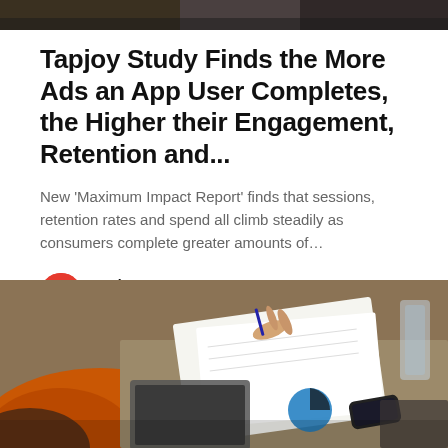[Figure (photo): Top strip showing partial photo of people at a meeting table]
Tapjoy Study Finds the More Ads an App User Completes, the Higher their Engagement, Retention and...
New 'Maximum Impact Report' finds that sessions, retention rates and spend all climb steadily as consumers complete greater amounts of...
Tapjoy
Apr 17, 2018 · 3 min read
[Figure (photo): Photo of people working at a meeting table with papers and a chart visible, someone in orange sleeve in foreground]